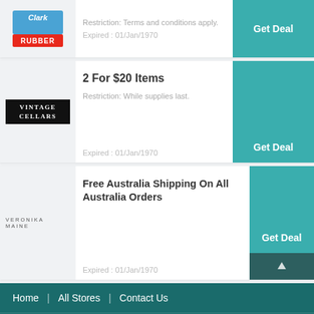[Figure (logo): Clark Rubber logo - blue and red brand logo]
Restriction: Terms and conditions apply.
Expired : 01/Jan/1970
Get Deal
2 For $20 Items
[Figure (logo): Vintage Cellars logo - white text on black background]
Restriction: While supplies last.
Expired : 01/Jan/1970
Get Deal
Free Australia Shipping On All Australia Orders
[Figure (logo): Veronika Maine logo - grey text on white background]
Expired : 01/Jan/1970
Get Deal
Home | All Stores | Contact Us
All Rights Reserved 2022 Ozdiscountonline.com